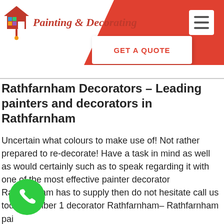Painting & Decorating
[Figure (screenshot): GET A QUOTE button overlay on red header]
Rathfarnham Decorators – Leading painters and decorators in Rathfarnham
Uncertain what colours to make use of! Not rather prepared to re-decorate! Have a task in mind as well as would certainly such as to speak regarding it with one of the most effective painter decorator Rathfarnham has to supply then do not hesitate call us today number 1 decorator Rathfarnham– Rathfarnham pai...